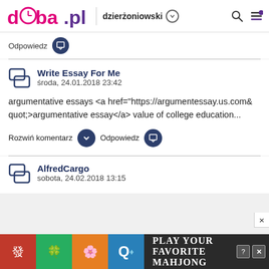doba.pl | dzierżoniowski
Odpowiedz
Write Essay For Me
środa, 24.01.2018 23:42

argumentative essays <a href="https://argumentessay.us.com&quot;>argumentative essay</a> value of college education...
Rozwiń komentarz   Odpowiedz
AlfredCargo
sobota, 24.02.2018 13:15
[Figure (screenshot): Advertisement banner for Mahjong game with tile images and text 'Play Your Favorite Mahjong']